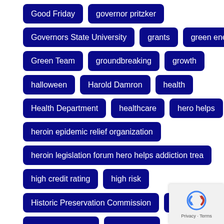Good Friday
governor pritzker
Governors State University
grants
green energy
Green Team
groundbreaking
growth
halloween
Harold Damron
health
Health Department
healthcare
hero helps
heroin epidemic relief organization
heroin legislation forum hero helps addiction trea
high credit rating
high risk
Historic Preservation Commission
holiday